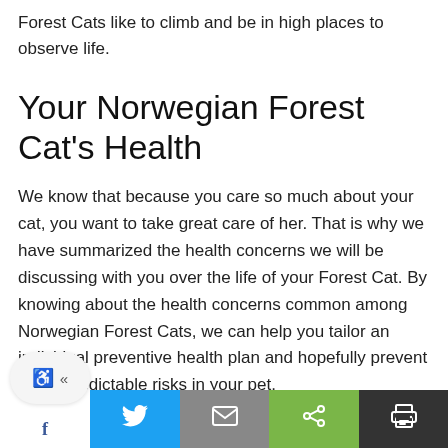Forest Cats like to climb and be in high places to observe life.
Your Norwegian Forest Cat's Health
We know that because you care so much about your cat, you want to take great care of her. That is why we have summarized the health concerns we will be discussing with you over the life of your Forest Cat. By knowing about the health concerns common among Norwegian Forest Cats, we can help you tailor an individual preventive health plan and hopefully prevent some predictable risks in your pet.